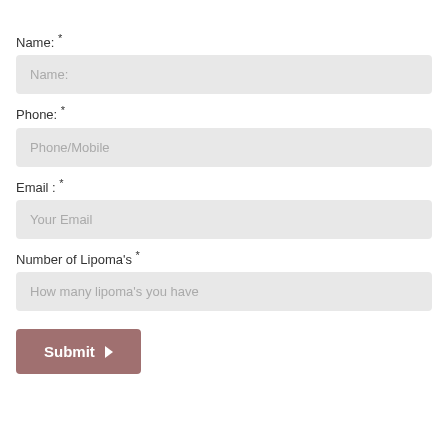Name: *
Name:
Phone: *
Phone/Mobile
Email : *
Your Email
Number of Lipoma's *
How many lipoma's you have
Submit